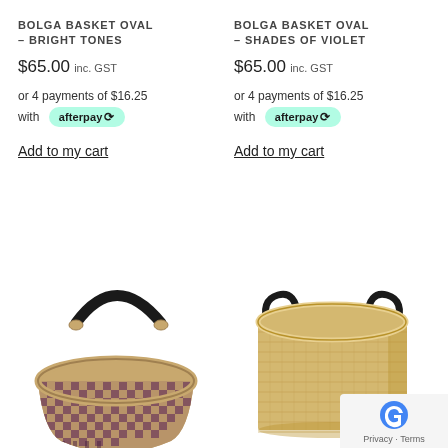BOLGA BASKET OVAL – BRIGHT TONES
$65.00 inc. GST
or 4 payments of $16.25 with afterpay
Add to my cart
[Figure (photo): Bolga basket oval with dark handle, multicolor woven pattern in purple/pink/beige tones, oval shape]
BOLGA BASKET OVAL – SHADES OF VIOLET
$65.00 inc. GST
or 4 payments of $16.25 with afterpay
Add to my cart
[Figure (photo): Bolga basket oval, light golden/natural straw color, wide cylindrical shape with two small dark handles]
Privacy · Terms